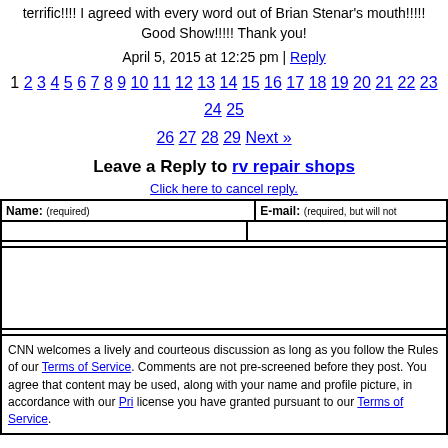terrific!!!! I agreed with every word out of Brian Stenar's mouth!!!!! Good Show!!!!! Thank you!
April 5, 2015 at 12:25 pm | Reply
1 2 3 4 5 6 7 8 9 10 11 12 13 14 15 16 17 18 19 20 21 22 23 24 25 26 27 28 29 Next »
Leave a Reply to rv repair shops
Click here to cancel reply.
CNN welcomes a lively and courteous discussion as long as you follow the Rules of our Terms of Service. Comments are not pre-screened before they post. You agree that content may be used, along with your name and profile picture, in accordance with our Privacy Policy license you have granted pursuant to our Terms of Service.